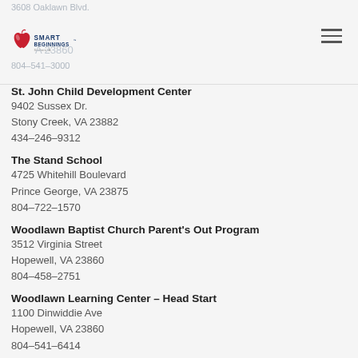3608 Oaklawn Blvd. Hopewell, VA 23860 804-541-3000 Smart Beginnings
St. John Child Development Center
9402 Sussex Dr.
Stony Creek, VA 23882
434-246-9312
The Stand School
4725 Whitehill Boulevard
Prince George, VA 23875
804-722-1570
Woodlawn Baptist Church Parent's Out Program
3512 Virginia Street
Hopewell, VA 23860
804-458-2751
Woodlawn Learning Center – Head Start
1100 Dinwiddie Ave
Hopewell, VA 23860
804-541-6414